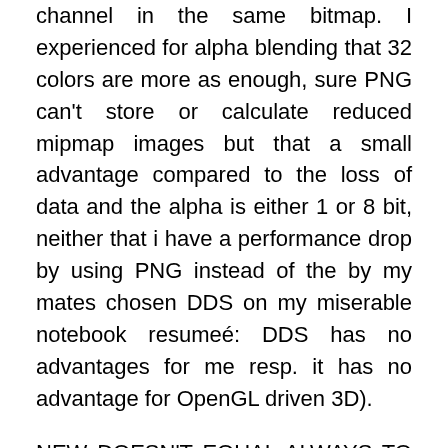channel in the same bitmap. I experienced for alpha blending that 32 colors are more as enough, sure PNG can't store or calculate reduced mipmap images but that a small advantage compared to the loss of data and the alpha is either 1 or 8 bit, neither that i have a performance drop by using PNG instead of the by my mates chosen DDS on my miserable notebook resumeé: DDS has no advantages for me resp. it has no advantage for OpenGL driven 3D).
NEW DOESN'T EQUAL ALWAYS TO BETTER (you know it)
To convert IFF to PNG and back i use XnView, it never failed (for the ~300 images which i converted), my common image editor/paint program is as you can guess GIMP, it had an IFF